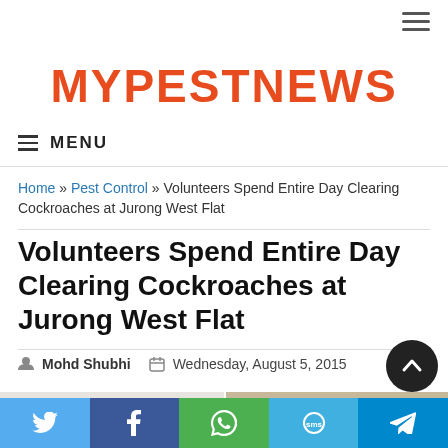MYPESTNEWS
MENU
Home » Pest Control » Volunteers Spend Entire Day Clearing Cockroaches at Jurong West Flat
Volunteers Spend Entire Day Clearing Cockroaches at Jurong West Flat
Mohd Shubhi   Wednesday, August 5, 2015
[Figure (photo): Before and after photos of cockroach clearing at Jurong West Flat]
[Figure (infographic): Social share bar with Twitter, Facebook, WhatsApp, SMS, and Telegram buttons]